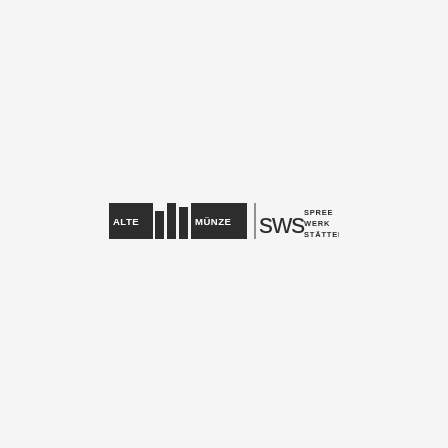[Figure (logo): Combined logo: 'ALTE MÜNZE' wordmark with stylized vertical bar columns graphic in dark/black, alongside 'SWS' stylized lettering with 'SPREE WERK STÄTTEN' text stacked on the right.]